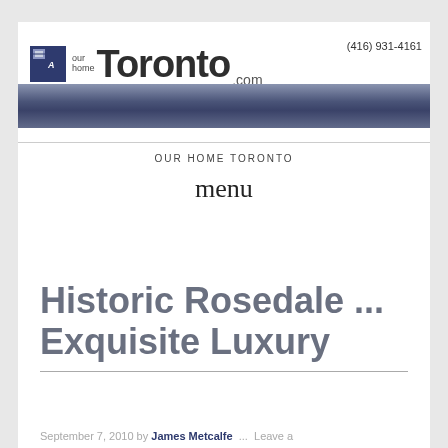[Figure (logo): Our Home Toronto .com logo with blue icon, bold Toronto text, and phone number (416) 931-4161, with a blue-grey gradient navigation bar and 'OUR HOME TORONTO' label]
menu
Historic Rosedale ... Exquisite Luxury
September 7, 2010 by James Metcalfe ... Leave a